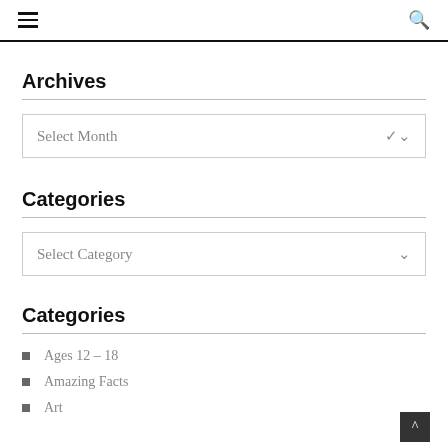≡  🔍
Archives
Select Month
Categories
Select Category
Categories
Ages 12 – 18
Amazing Facts
Art